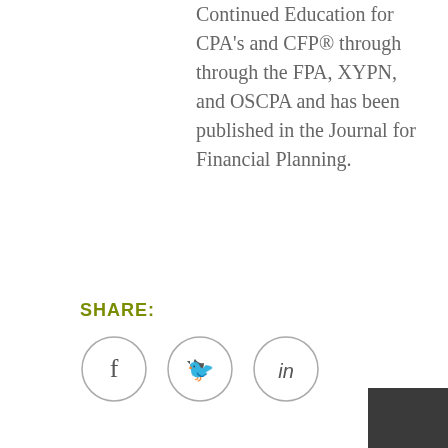Continued Education for CPA's and CFP® through through the FPA, XYPN, and OSCPA and has been published in the Journal for Financial Planning.
SHARE:
[Figure (other): Three social media icon circles: Facebook (f), Twitter (bird), LinkedIn (in)]